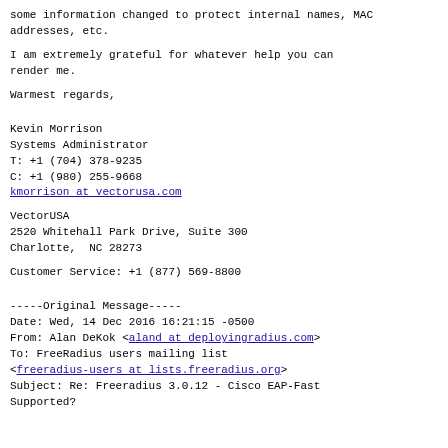some information changed to protect internal names, MAC addresses, etc.
I am extremely grateful for whatever help you can render me.
Warmest regards,
Kevin Morrison
Systems Administrator
T: +1 (704) 378-9235
C: +1 (980) 255-9668
kmorrison at vectorusa.com
VectorUSA
2520 Whitehall Park Drive, Suite 300
Charlotte,  NC 28273
Customer Service: +1 (877) 569-8800
-----Original Message-----
Date: Wed, 14 Dec 2016 16:21:15 -0500
From: Alan DeKok <aland at deployingradius.com>
To: FreeRadius users mailing list <freeradius-users at lists.freeradius.org>
Subject: Re: Freeradius 3.0.12 - Cisco EAP-Fast Supported?